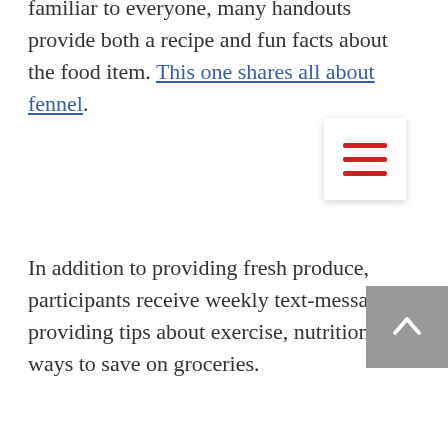familiar to everyone, many handouts provide both a recipe and fun facts about the food item. This one shares all about fennel.
In addition to providing fresh produce, participants receive weekly text-messages providing tips about exercise, nutrition, and ways to save on groceries.
Texts can include tips to be more active and be as simple as “Stay home, Stay Active”, and more great tips like the ones available on this handout. Other texts are encouraging participants to eat more balanced meals and snacks, such as “Here are examples of balanced snacks: 1 apple with 1 tsp of